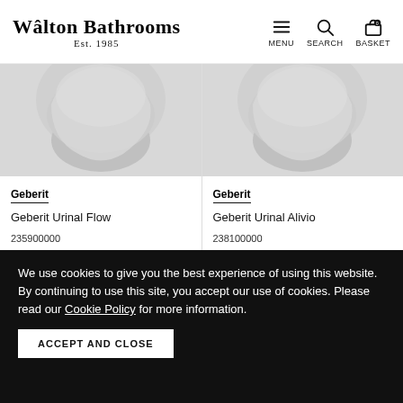Walton Bathrooms Est. 1985 | MENU | SEARCH | BASKET 0
[Figure (photo): Product image of Geberit Urinal Flow - grey/white ceramic urinal]
Geberit
Geberit Urinal Flow
235900000
£272.32
List price £389.03
[Figure (photo): Product image of Geberit Urinal Alivio - grey/white ceramic urinal]
Geberit
Geberit Urinal Alivio
238100000
£297.56
List price £425.10
We use cookies to give you the best experience of using this website. By continuing to use this site, you accept our use of cookies. Please read our Cookie Policy for more information.
ACCEPT AND CLOSE